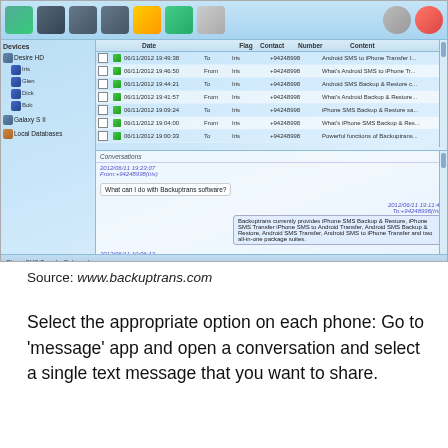[Figure (screenshot): Screenshot of Backuptrans SMS management software showing a list of SMS messages with columns for Date, Flag, Contact, Number, and Content. The left panel shows a device tree with 'Desire HD' and 'Galaxy S II'. The right panel shows messages from 06/11/2012 and a conversation window showing a chat about Backuptrans software features.]
Source: www.backuptrans.com
Select the appropriate option on each phone: Go to ‘message’ app and open a conversation and select a single text message that you want to share.